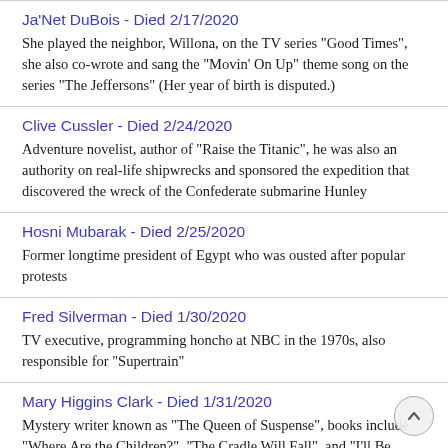Ja'Net DuBois - Died 2/17/2020
She played the neighbor, Willona, on the TV series "Good Times", she also co-wrote and sang the "Movin' On Up" theme song on the series "The Jeffersons" (Her year of birth is disputed.)
Clive Cussler - Died 2/24/2020
Adventure novelist, author of "Raise the Titanic", he was also an authority on real-life shipwrecks and sponsored the expedition that discovered the wreck of the Confederate submarine Hunley
Hosni Mubarak - Died 2/25/2020
Former longtime president of Egypt who was ousted after popular protests
Fred Silverman - Died 1/30/2020
TV executive, programming honcho at NBC in the 1970s, also responsible for "Supertrain"
Mary Higgins Clark - Died 1/31/2020
Mystery writer known as "The Queen of Suspense", books include "Where Are the Children?", "The Cradle Will Fall", and "I'll Be